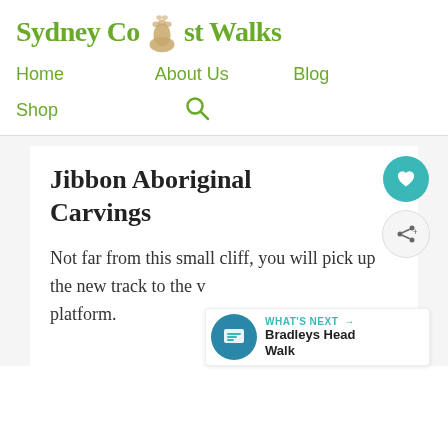Sydney Coast Walks
Home
About Us
Blog
Shop
Jibbon Aboriginal Carvings
Not far from this small cliff, you will pick up the new track to the v… platform.
[Figure (other): What's Next callout: Bradleys Head Walk thumbnail with teal label and navigation arrow]